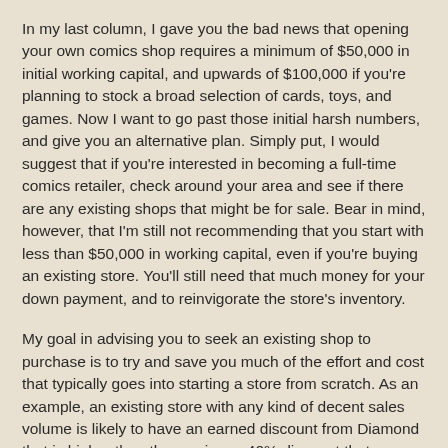In my last column, I gave you the bad news that opening your own comics shop requires a minimum of $50,000 in initial working capital, and upwards of $100,000 if you're planning to stock a broad selection of cards, toys, and games. Now I want to go past those initial harsh numbers, and give you an alternative plan. Simply put, I would suggest that if you're interested in becoming a full-time comics retailer, check around your area and see if there are any existing shops that might be for sale. Bear in mind, however, that I'm still not recommending that you start with less than $50,000 in working capital, even if you're buying an existing store. You'll still need that much money for your down payment, and to reinvigorate the store's inventory.
My goal in advising you to seek an existing shop to purchase is to try and save you much of the effort and cost that typically goes into starting a store from scratch. As an example, an existing store with any kind of decent sales volume is likely to have an earned discount from Diamond that is higher than the maximum 40% discount that you would be receiving if you started an entirely new operation.